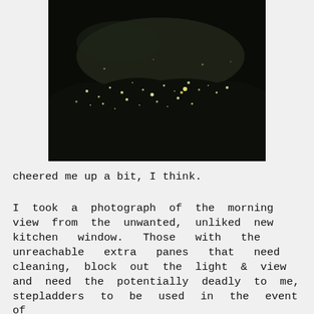[Figure (photo): A dark nighttime photograph showing a city or town view from above, with scattered lights visible against a dark sky and dark hillside/landscape. The sky has a slight glow near the horizon.]
cheered me up a bit, I think.
I took a photograph of the morning view from the unwanted, unliked new kitchen window. Those with the unreachable extra panes that need cleaning, block out the light & view and need the potentially deadly to me, stepladders to be used in the event of wanting check quickly for emergency vehicles in the event of a fire alarm,